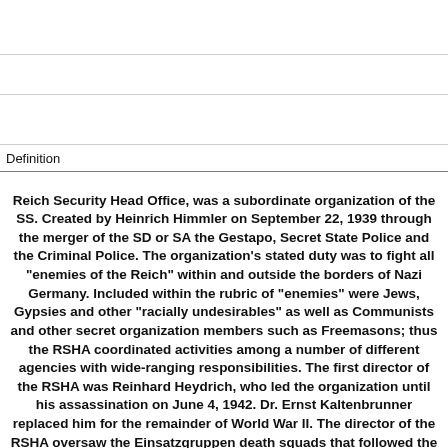Definition
Reich Security Head Office, was a subordinate organization of the SS. Created by Heinrich Himmler on September 22, 1939 through the merger of the SD or SA the Gestapo, Secret State Police and the Criminal Police. The organization's stated duty was to fight all "enemies of the Reich" within and outside the borders of Nazi Germany. Included within the rubric of "enemies" were Jews, Gypsies and other "racially undesirables" as well as Communists and other secret organization members such as Freemasons; thus the RSHA coordinated activities among a number of different agencies with wide-ranging responsibilities. The first director of the RSHA was Reinhard Heydrich, who led the organization until his assassination on June 4, 1942. Dr. Ernst Kaltenbrunner replaced him for the remainder of World War II. The director of the RSHA oversaw the Einsatzgruppen death squads that followed the invasion forces of the German army into the eastern